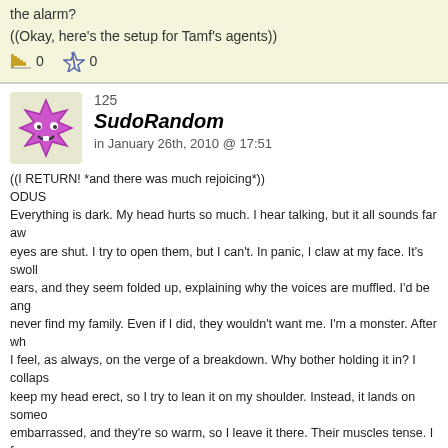the alarm?
((Okay, here's the setup for Tamf's agents))
0  0
125
SudoRandom
in January 26th, 2010 @ 17:51
((I RETURN! *and there was much rejoicing*))
ODUS
Everything is dark. My head hurts so much. I hear talking, but it all sounds far away. My eyes are shut. I try to open them, but I can't. In panic, I claw at my face. It's swollen. I touch my ears, and they seem folded up, explaining why the voices are muffled. I'd be angry, but I'll never find my family. Even if I did, they wouldn't want me. I'm a monster. After what I've done, I feel, as always, on the verge of a breakdown. Why bother holding it in? I collapse. I can't keep my head erect, so I try to lean it on my shoulder. Instead, it lands on someone. I'm embarrassed, and they're so warm, so I leave it there. Their muscles tense. I force my eyes open. female, and she looks to be part cat. Her eyes are widening, and she's staring at me. She digs her hand into my arm, and her nails are long and sharp. I scoot away from her. Except I'm pleased. I haven't touched a person in so long. Well, besides Seth and the Kirian, but think about that, anyway. I assume that the cat girl is annoyed with me, and my thoughts scatter. I sneak a look at her, and her face is flushed. I look away hurriedly, and I see Seth. I bite my tongue, and try to go back to sleep. If I wasn't so tired, I'd try figuring out why they're together. But now I can feel myself falling asleep. Right before I pass out, I remember a cat that purred when I petted it. I wonder if maybe the girl was purring too.
0  0